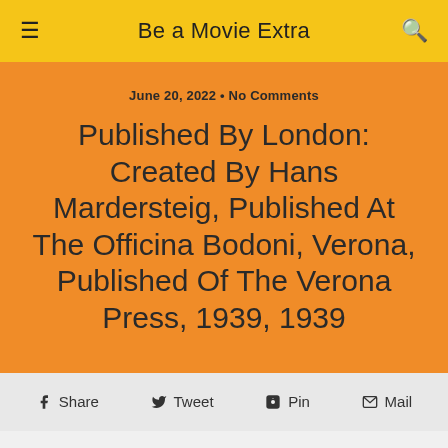Be a Movie Extra
June 20, 2022 • No Comments
Published By London: Created By Hans Mardersteig, Published At The Officina Bodoni, Verona, Published Of The Verona Press, 1939, 1939
Share  Tweet  Pin  Mail
All Goods Sort